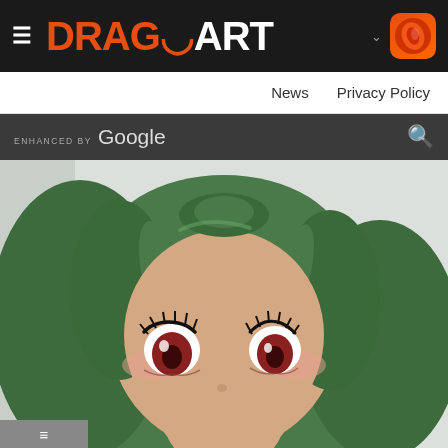DragoArt navigation header with logo
News   Privacy Policy
ENHANCED BY Google
[Figure (illustration): Anime character with long green hair and large red eyes, close-up face shot with surprised expression, wearing green clothing]